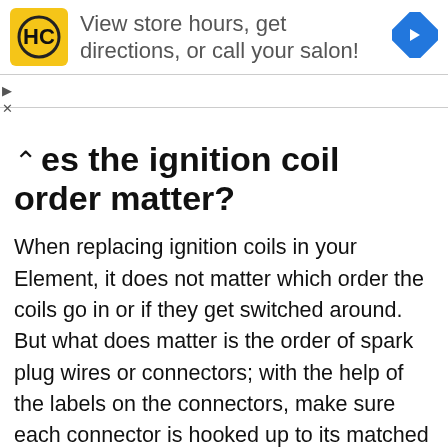[Figure (screenshot): Advertisement banner with HC logo (yellow square with black HC text), the text 'View store hours, get directions, or call your salon!', and a blue diamond navigation arrow icon on the right. Small play and close controls at bottom left.]
Does the ignition coil order matter?
When replacing ignition coils in your Element, it does not matter which order the coils go in or if they get switched around. But what does matter is the order of spark plug wires or connectors; with the help of the labels on the connectors, make sure each connector is hooked up to its matched cylinder. Connecting ignition coil wires in the wrong order can affect the performance of the engine or prevent it from starting, and